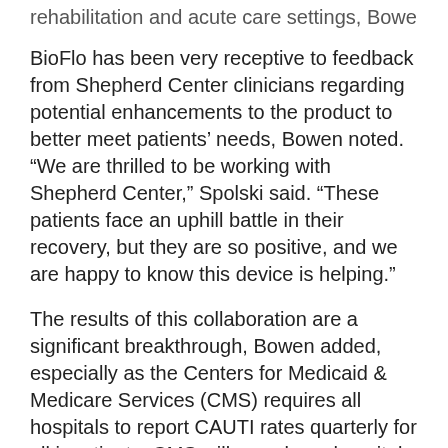rehabilitation and acute care settings, Bowen said.
BioFlo has been very receptive to feedback from Shepherd Center clinicians regarding potential enhancements to the product to better meet patients’ needs, Bowen noted. “We are thrilled to be working with Shepherd Center,” Spolski said. “These patients face an uphill battle in their recovery, but they are so positive, and we are happy to know this device is helping.”
The results of this collaboration are a significant breakthrough, Bowen added, especially as the Centers for Medicaid & Medicare Services (CMS) requires all hospitals to report CAUTI rates quarterly for all inpatients. CMS will soon base hospital reimbursements on quality measures such as this one.
For more information, contact Susan Bowen at susan_bowen@shepherd.org or 404-367-1359 or Kevin Spolski at kevin@bioflo.us or toll free at 855-601-6600.